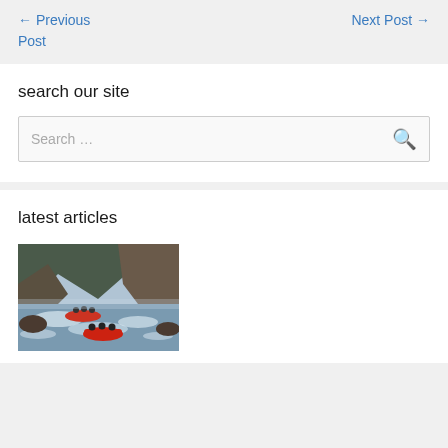← Previous Post    Next Post →
search our site
Search …
latest articles
[Figure (photo): Whitewater rafting scene with people in red rafts navigating rapids between rocky cliffs with forested mountains in background]